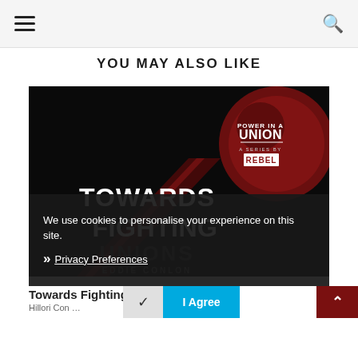Navigation bar with hamburger menu and search icon
YOU MAY ALSO LIKE
[Figure (illustration): Book/video thumbnail with dark background showing 'TOWARDS FIGHTING UNIONS' by Eddie Conlon, with 'POWER IN A UNION – A SERIES BY REBEL' badge in top right corner over a red circular element.]
We use cookies to personalise your experience on this site.
❯ Privacy Preferences
Towards Fighting Unions
I Agree